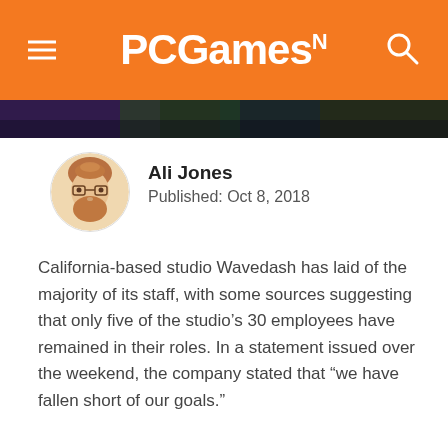PCGamesN
[Figure (photo): Dark colorful banner image strip with purple and green tones]
[Figure (illustration): Cartoon avatar of Ali Jones, a bearded man with glasses]
Ali Jones
Published: Oct 8, 2018
California-based studio Wavedash has laid of the majority of its staff, with some sources suggesting that only five of the studio’s 30 employees have remained in their roles. In a statement issued over the weekend, the company stated that “we have fallen short of our goals.”